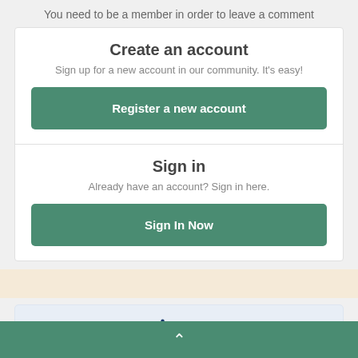You need to be a member in order to leave a comment
Create an account
Sign up for a new account in our community. It's easy!
Register a new account
Sign in
Already have an account? Sign in here.
Sign In Now
Share